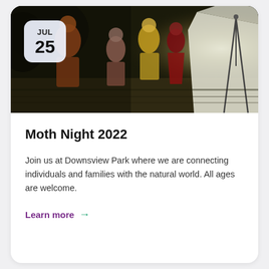[Figure (photo): Nighttime outdoor event at Downsview Park. People including children are visible in the dark, illuminated by a bright light source near a white tent or screen on the right side. The ground is covered with wood chips or gravel.]
Moth Night 2022
Join us at Downsview Park where we are connecting individuals and families with the natural world. All ages are welcome.
Learn more →